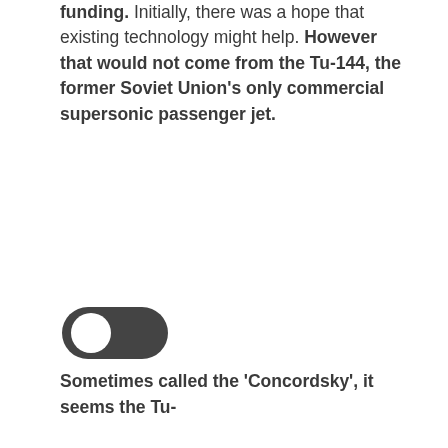funding. Initially, there was a hope that existing technology might help. However that would not come from the Tu-144, the former Soviet Union's only commercial supersonic passenger jet.
[Figure (illustration): A toggle switch UI element shown in the ON (dark) position with white circle on the right side.]
Sometimes called the 'Concordsky', it seems the Tu-